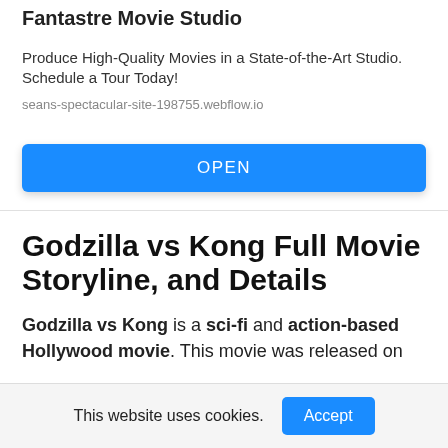Fantastre Movie Studio
Produce High-Quality Movies in a State-of-the-Art Studio. Schedule a Tour Today!
seans-spectacular-site-198755.webflow.io
OPEN
Godzilla vs Kong Full Movie Storyline, and Details
Godzilla vs Kong is a sci-fi and action-based Hollywood movie. This movie was released on
This website uses cookies.
Accept